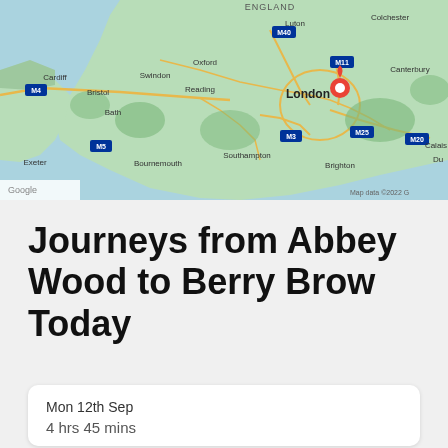[Figure (map): Google Maps screenshot showing southern England including London (with red location pin), Oxford, Reading, Bristol, Cardiff, Southampton, Brighton, Canterbury, and surrounding regions with road network overlaid. Map data ©2022 shown in bottom right.]
Journeys from Abbey Wood to Berry Brow Today
Mon 12th Sep
4 hrs 45 mins